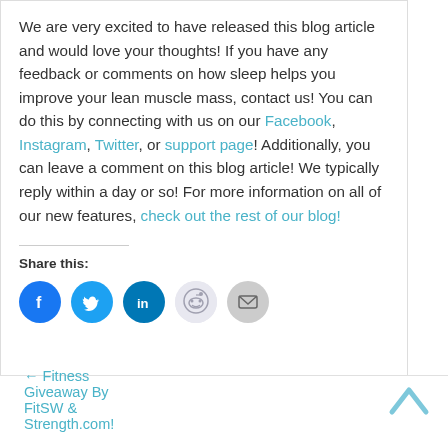We are very excited to have released this blog article and would love your thoughts! If you have any feedback or comments on how sleep helps you improve your lean muscle mass, contact us! You can do this by connecting with us on our Facebook, Instagram, Twitter, or support page! Additionally, you can leave a comment on this blog article! We typically reply within a day or so! For more information on all of our new features, check out the rest of our blog!
Share this:
[Figure (infographic): Social share buttons: Facebook, Twitter, LinkedIn, Reddit, Email]
[Figure (infographic): Chevron up (back to top) arrow]
← Fitness Giveaway By FitSW & Strength.com!